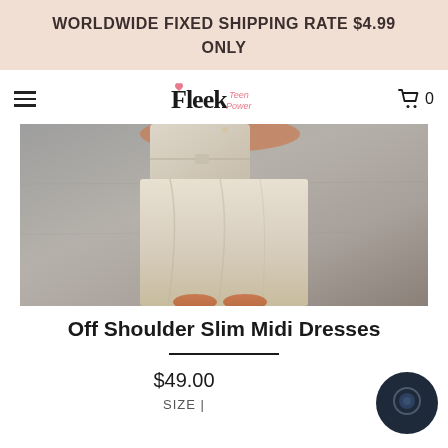WORLDWIDE FIXED SHIPPING RATE $4.99 ONLY
[Figure (logo): Fleek Teen Power logo with heart icon and stylized text]
[Figure (photo): A model wearing a beige/cream off-shoulder slim midi dress, holding a matching clutch bag against a grey concrete wall background. Only the torso and lower body are visible.]
Off Shoulder Slim Midi Dresses
$49.00
SIZE |